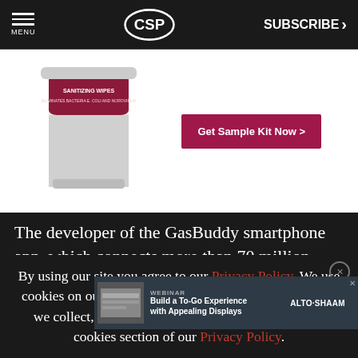MENU | CSP | SUBSCRIBE >
[Figure (photo): Advertisement showing a canister of sanitizing wipes with a 'Get Sample Kit Now >' button on a white background]
The developer of the GasBuddy smartphone app, which connects more than 70 million drivers...mber ratings...s
[Figure (other): Webinar ad overlay: 'WEBINAR - Build a To-Go Experience with Appealing Displays' by Alto-Shaam]
By using our site you agree to our Privacy Policy. We use cookies on our site. To learn more about the information we collect, how we use it and your choices, visit the cookies section of our Privacy Policy.